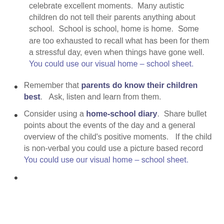celebrate excellent moments.  Many autistic children do not tell their parents anything about school.  School is school, home is home.  Some are too exhausted to recall what has been for them a stressful day, even when things have gone well.  You could use our visual home – school sheet.
Remember that parents do know their children best.   Ask, listen and learn from them.
Consider using a home-school diary.  Share bullet points about the events of the day and a general overview of the child's positive moments.   If the child is non-verbal you could use a picture based record  You could use our visual home – school sheet.